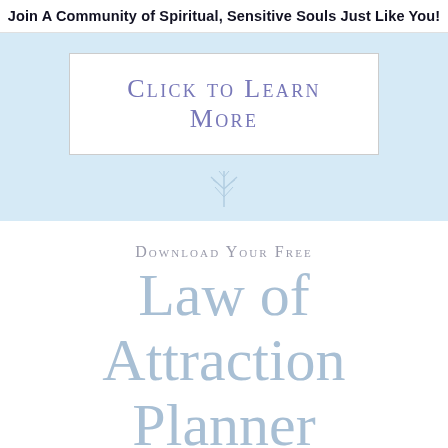Join A Community of Spiritual, Sensitive Souls Just Like You!
[Figure (infographic): Light blue banner with a white rectangular button labeled 'Click to Learn More' in small-caps purple text, and a decorative snowflake/plant SVG icon below.]
Download Your Free
Law of Attraction Planner